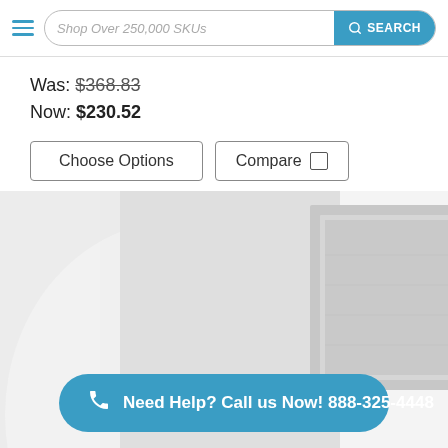Shop Over 250,000 SKUs | SEARCH
Was: $368.83
Now: $230.52
Choose Options | Compare
[Figure (photo): Blurred product image showing what appears to be a framed mirror or artwork mounted on a white wall in a bathroom setting]
Need Help? Call us Now! 888-325-4448